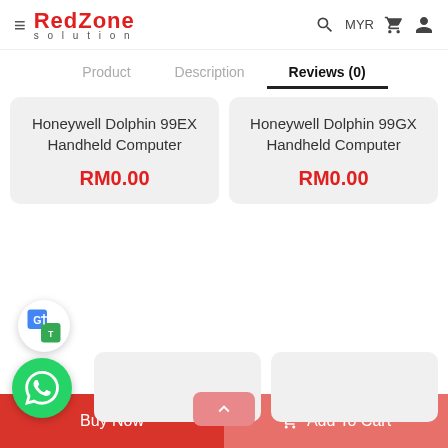[Figure (screenshot): RedZone Solution website header with hamburger menu icon, RedZone Solution logo in red, search icon, MYR currency selector, cart icon, and user account icon]
Product   Description   Reviews (0)
Honeywell Dolphin 99EX Handheld Computer
RM0.00
Honeywell Dolphin 99GX Handheld Computer
RM0.00
[Figure (logo): Google Translate floating button icon]
[Figure (logo): WhatsApp floating button icon (green circle with phone/chat icon)]
[Figure (screenshot): Two lower product card placeholders (gray boxes)]
[Figure (other): Scroll-to-top button (pinkish/salmon colored with up arrow chevron)]
Buy Now
Add To Cart